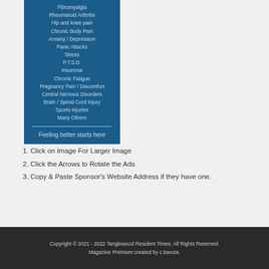[Figure (other): Blue box listing medical conditions: Fibromyalgia, Rheumatoid Arthritis, Hip and knee pain, Chronic Body Pain, Anxiety / Depression, Panic Attacks, Stress, P.T.S.D., Insomnia, Chronic Fatigue, Pregnancy Pain / Discomfort, Central Nervous Disorders, Brain / Spinal Cord Injury, Sports Injuries, Many Others, with a horizontal rule and tagline 'Feeling better starts here']
1. Click on Image For Larger Image
2. Click the Arrows to Rotate the Ads
3. Copy & Paste Sponsor's Website Address if they have one.
Copyright © 2021 - 2022 Tanglewood Resident Times. All Rights Reserved. Magazine Premium created by c.bavota.